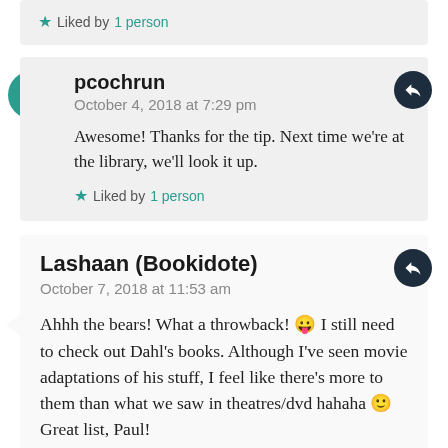Liked by 1 person
pcochrun
October 4, 2018 at 7:29 pm
Awesome! Thanks for the tip. Next time we're at the library, we'll look it up.
Liked by 1 person
Lashaan (Bookidote)
October 7, 2018 at 11:53 am
Ahhh the bears! What a throwback! 😛 I still need to check out Dahl's books. Although I've seen movie adaptations of his stuff, I feel like there's more to them than what we saw in theatres/dvd hahaha 🙂 Great list, Paul!